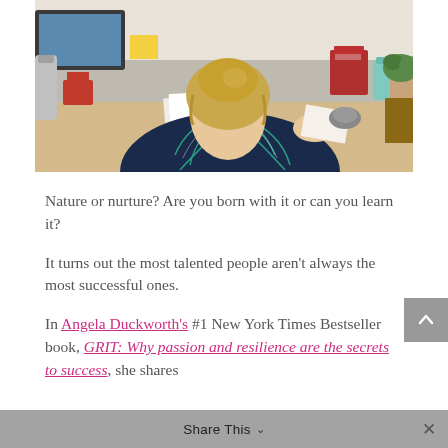[Figure (photo): A woman with blonde hair in a bun, seen from behind, wearing a navy blue floral/palm leaf print top, sitting at a desk working with papers. Various office items visible on the desk.]
Nature or nurture? Are you born with it or can you learn it?
It turns out the most talented people aren't always the most successful ones.
In Angela Duckworth's #1 New York Times Bestseller book, GRIT: Why passion and resilience are the secrets to success, she shares